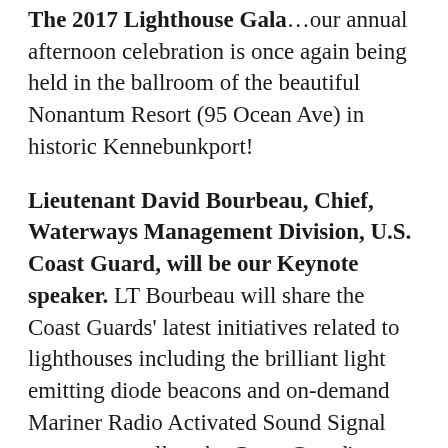The 2017 Lighthouse Gala…our annual afternoon celebration is once again being held in the ballroom of the beautiful Nonantum Resort (95 Ocean Ave) in historic Kennebunkport!
Lieutenant David Bourbeau, Chief, Waterways Management Division, U.S. Coast Guard, will be our Keynote speaker. LT Bourbeau will share the Coast Guards' latest initiatives related to lighthouses including the brilliant light emitting diode beacons and on-demand Mariner Radio Activated Sound Signal system, as well as the Coast Guard's commitment to working with partners like the American Lighthouse Foundation and how the public benefits